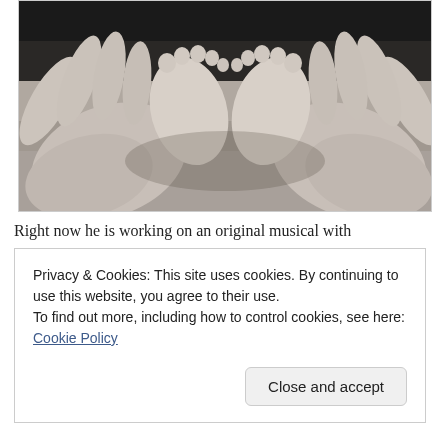[Figure (photo): Black and white photograph of two adult hands cradling tiny newborn baby feet in a heart shape on a soft textured blanket background.]
Right now he is working on an original musical with
Privacy & Cookies: This site uses cookies. By continuing to use this website, you agree to their use.
To find out more, including how to control cookies, see here: Cookie Policy
Close and accept